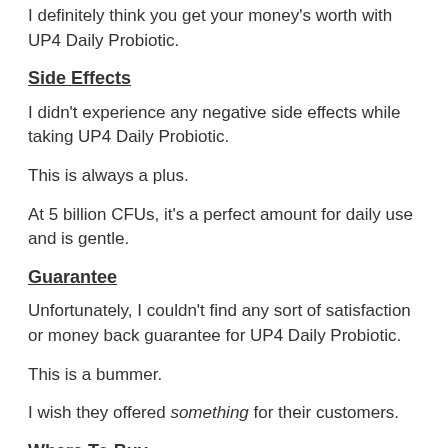I definitely think you get your money's worth with UP4 Daily Probiotic.
Side Effects
I didn't experience any negative side effects while taking UP4 Daily Probiotic.
This is always a plus.
At 5 billion CFUs, it's a perfect amount for daily use and is gentle.
Guarantee
Unfortunately, I couldn't find any sort of satisfaction or money back guarantee for UP4 Daily Probiotic.
This is a bummer.
I wish they offered something for their customers.
Where To Buy